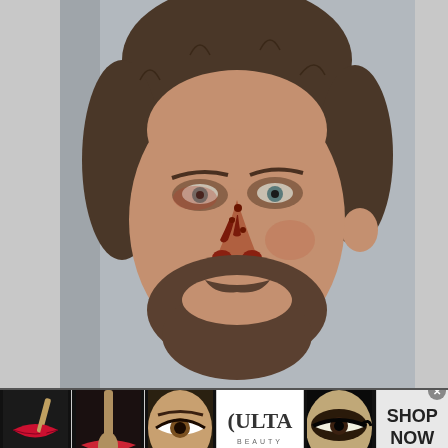[Figure (photo): Mugshot of a middle-aged man with disheveled brown hair and a beard, with visible injuries/blood on his nose. Gray background typical of law enforcement booking photos.]
[Figure (photo): Advertisement banner for Ulta Beauty showing multiple close-up beauty/makeup images: red lips with lipstick brush, makeup brush close-up, woman with dramatic eye makeup, Ulta Beauty logo, woman with smoky eye makeup, and a 'SHOP NOW' call to action with a close button.]